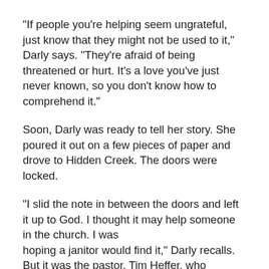“If people you’re helping seem ungrateful, just know that they might not be used to it,” Darly says. “They’re afraid of being threatened or hurt. It’s a love you’ve just never known, so you don’t know how to comprehend it.”
Soon, Darly was ready to tell her story. She poured it out on a few pieces of paper and drove to Hidden Creek. The doors were locked.
“I slid the note in between the doors and left it up to God. I thought it may help someone in the church. I was
hoping a janitor would find it,” Darly recalls. But it was the pastor, Tim Heffer, who discovered the letter.
He called Darly with tears in his eyes, thanking her for her courage, and asked if she would be open to testifying in front of the Washington State Senate Law and Justice Committee. Darly hesitantly agreed. Tim and Darly’s goal was to help pass stricter laws against prostitution—working toward bringing freedom to